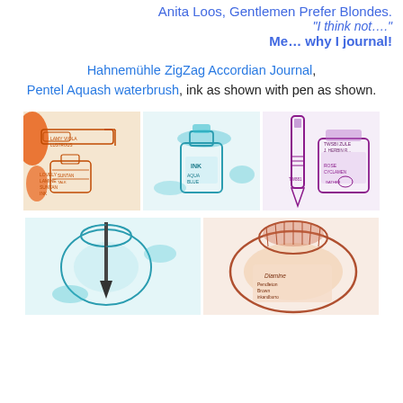Anita Loos, Gentlemen Prefer Blondes.
“I think not….”
Me… why I journal!
Hahnemühle ZigZag Accordian Journal, Pentel Aquash waterbrush, ink as shown with pen as shown.
[Figure (illustration): Sketched journal illustration in orange/brown ink showing a fountain pen and ink bottle labeled Lamy Viola Lustrous, with text Lovely Lamine Suntan Ink]
[Figure (illustration): Sketched illustration in teal/cyan ink showing a bottle of ink with stylized label]
[Figure (illustration): Sketched illustration in purple ink showing a Twsbi Zule fountain pen and J. Herbin ink bottle labeled Rose Cyclamen Gather]
[Figure (illustration): Sketched illustration in teal/cyan showing a fountain pen nib being dipped into an open ink bottle]
[Figure (illustration): Sketched illustration in copper/rose gold ink showing a large ink bottle labeled Diamine Pendleton Brown or similar]